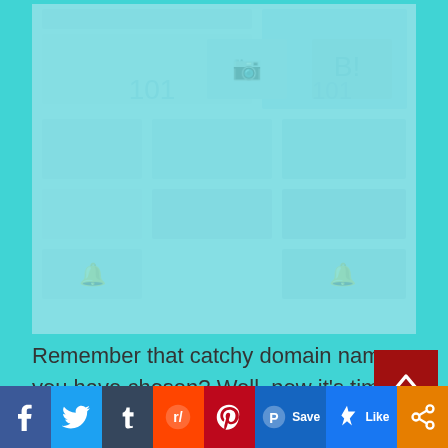[Figure (screenshot): Faded/blurred screenshot of a web page with multiple panels and interface elements, shown behind the main visible content]
Remember that catchy domain name you have chosen? Well, now it's time to use it. Select the domain for installation, choose the desired
[Figure (infographic): Social media sharing bar at the bottom with Facebook, Twitter, Tumblr, Reddit, Pinterest Save, Like, and Share buttons]